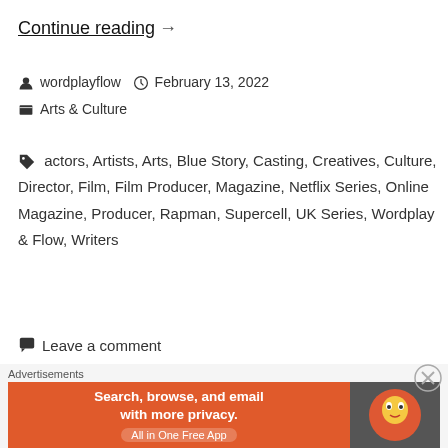Continue reading →
wordplayflow   February 13, 2022   Arts & Culture
actors, Artists, Arts, Blue Story, Casting, Creatives, Culture, Director, Film, Film Producer, Magazine, Netflix Series, Online Magazine, Producer, Rapman, Supercell, UK Series, Wordplay & Flow, Writers
Leave a comment
1  2  3  5  Older posts ›
Advertisements
[Figure (screenshot): DuckDuckGo advertisement banner: Search, browse, and email with more privacy. All in One Free App]